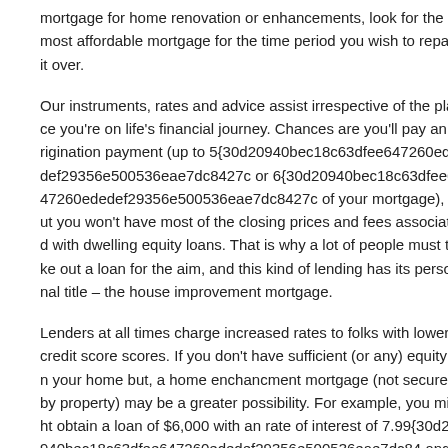mortgage for home renovation or enhancements, look for the most affordable mortgage for the time period you wish to repay it over.
Our instruments, rates and advice assist irrespective of the place you're on life's financial journey. Chances are you'll pay an origination payment (up to 5{30d20940bec18c63dfee647260ededef29356e500536eae7dc8427c or 6{30d20940bec18c63dfee647260ededef29356e500536eae7dc8427c of your mortgage), but you won't have most of the closing prices and fees associated with dwelling equity loans. That is why a lot of people must take out a loan for the aim, and this kind of lending has its personal title – the house improvement mortgage.
Lenders at all times charge increased rates to folks with lower credit score scores. If you don't have sufficient (or any) equity in your home but, a home enchancment mortgage (not secured by property) may be a greater possibility. For example, you might obtain a loan of $6,000 with an rate of interest of 7.99{30d20940bec18c63dfee647260ededef29356e500536eae7dc84 and a